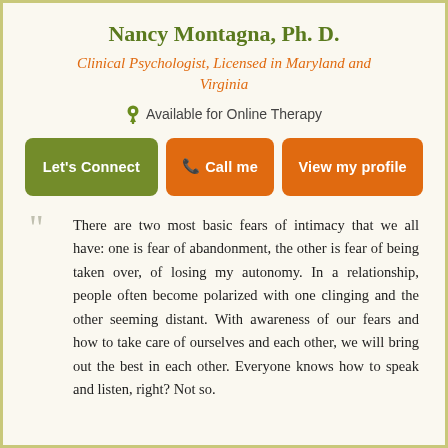Nancy Montagna, Ph. D.
Clinical Psychologist, Licensed in Maryland and Virginia
Available for Online Therapy
Let's Connect | Call me | View my profile
There are two most basic fears of intimacy that we all have: one is fear of abandonment, the other is fear of being taken over, of losing my autonomy. In a relationship, people often become polarized with one clinging and the other seeming distant. With awareness of our fears and how to take care of ourselves and each other, we will bring out the best in each other. Everyone knows how to speak and listen, right? Not so.